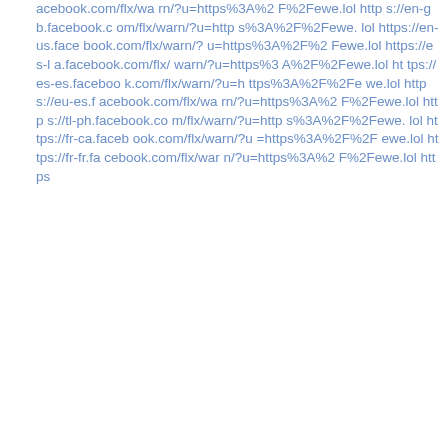acebook.com/flx/warn/?u=https%3A%2F%2Fewe.lol https://en-gb.facebook.com/flx/warn/?u=https%3A%2F%2Fewe.lol https://en-us.facebook.com/flx/warn/?u=https%3A%2F%2Fewe.lol https://es-la.facebook.com/flx/warn/?u=https%3A%2F%2Fewe.lol https://es-es.facebook.com/flx/warn/?u=https%3A%2F%2Fewe.lol https://eu-es.facebook.com/flx/warn/?u=https%3A%2F%2Fewe.lol https://tl-ph.facebook.com/flx/warn/?u=https%3A%2F%2Fewe.lol https://fr-ca.facebook.com/flx/warn/?u=https%3A%2F%2Fewe.lol https://fr-fr.facebook.com/flx/warn/?u=https%3A%2F%2Fewe.lol